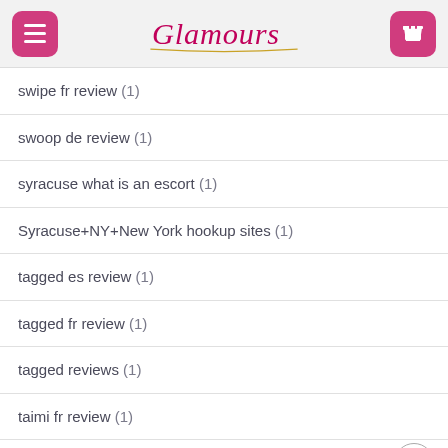Glamours
swipe fr review (1)
swoop de review (1)
syracuse what is an escort (1)
Syracuse+NY+New York hookup sites (1)
tagged es review (1)
tagged fr review (1)
tagged reviews (1)
taimi fr review (1)
taimi reviews (1)
TalkWithStranger browse around tids web-site (1)